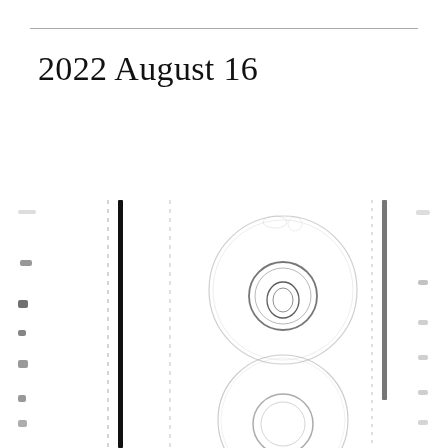2022 August 16
[Figure (illustration): Ink/graphite sketch or scan showing two donut/ring shapes with circular centers arranged vertically, flanked by vertical black bars and dotted/textured vertical lines on either side. The rings appear hand-drawn or printed with smudges. The composition is abstract or scientific in nature.]